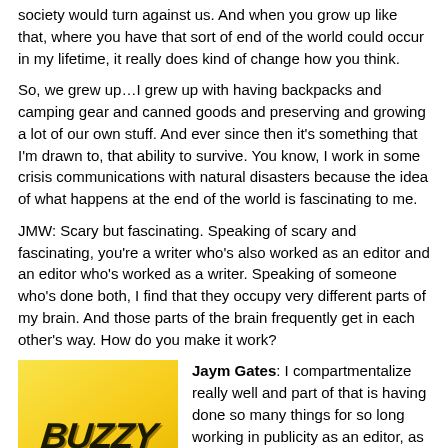society would turn against us. And when you grow up like that, where you have that sort of end of the world could occur in my lifetime, it really does kind of change how you think.
So, we grew up…I grew up with having backpacks and camping gear and canned goods and preserving and growing a lot of our own stuff. And ever since then it's something that I'm drawn to, that ability to survive. You know, I work in some crisis communications with natural disasters because the idea of what happens at the end of the world is fascinating to me.
JMW: Scary but fascinating. Speaking of scary and fascinating, you're a writer who's also worked as an editor and an editor who's worked as a writer. Speaking of someone who's done both, I find that they occupy very different parts of my brain. And those parts of the brain frequently get in each other's way. How do you make it work?
[Figure (logo): Yellow/gold background with bold italic black text reading BUZZY]
Jaym Gates: I compartmentalize really well and part of that is having done so many things for so long working in publicity as an editor, as a writer. All of